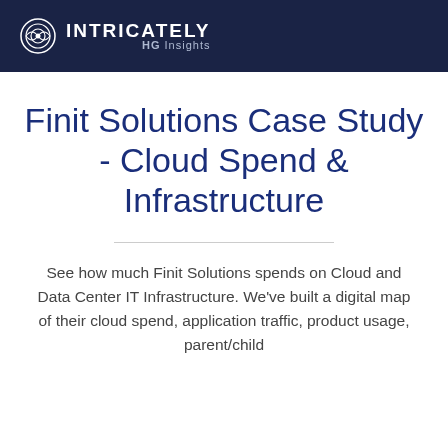INTRICATELY HG Insights
Finit Solutions Case Study - Cloud Spend & Infrastructure
See how much Finit Solutions spends on Cloud and Data Center IT Infrastructure. We've built a digital map of their cloud spend, application traffic, product usage, parent/child